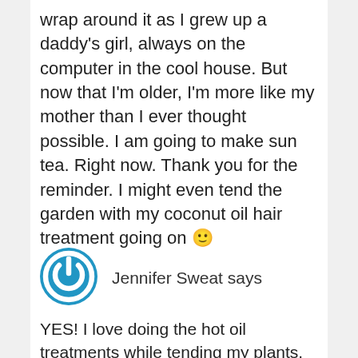wrap around it as I grew up a daddy's girl, always on the computer in the cool house. But now that I'm older, I'm more like my mother than I ever thought possible. I am going to make sun tea. Right now. Thank you for the reminder. I might even tend the garden with my coconut oil hair treatment going on 🙂
[Figure (illustration): Blue circular avatar icon with a power/user symbol in white]
Jennifer Sweat says
YES! I love doing the hot oil treatments while tending my plants. Or just sitting in the sun reading a book.